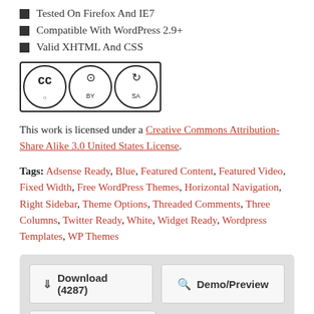Tested On Firefox And IE7
Compatible With WordPress 2.9+
Valid XHTML And CSS
[Figure (logo): Creative Commons BY-SA license badge]
This work is licensed under a Creative Commons Attribution-Share Alike 3.0 United States License.
Tags: Adsense Ready, Blue, Featured Content, Featured Video, Fixed Width, Free WordPress Themes, Horizontal Navigation, Right Sidebar, Theme Options, Threaded Comments, Three Columns, Twitter Ready, White, Widget Ready, Wordpress Templates, WP Themes
Download (4287)  Demo/Preview  18 Comments